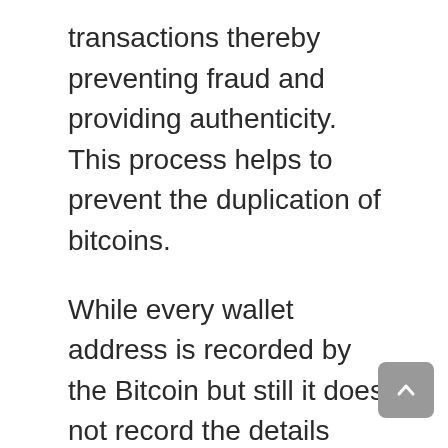transactions thereby preventing fraud and providing authenticity. This process helps to prevent the duplication of bitcoins.
While every wallet address is recorded by the Bitcoin but still it does not record the details about the owner of the Bitcoin thereby implying that every Bitcoin transfer is confirmed digitally but is completely anonymous at the same time.
So basically the thing is that your identity is hidden while making a Bitcoin transaction but the history of your wallet can be identified. This phenomenon of